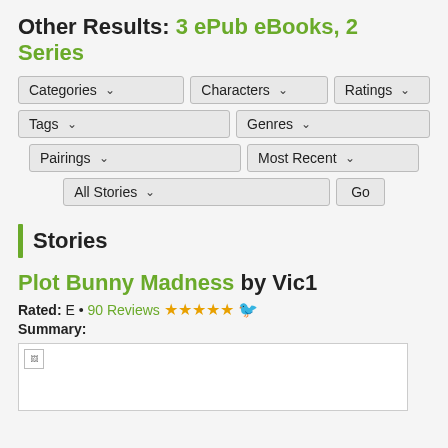Other Results: 3 ePub eBooks, 2 Series
[Figure (screenshot): Filter UI with dropdown selectors: Categories, Characters, Ratings, Tags, Genres, Pairings, Most Recent, All Stories, and a Go button]
Stories
Plot Bunny Madness by Vic1
Rated: E • 90 Reviews ★★★★★ [bird icon]
Summary:
[Figure (photo): Broken image placeholder in a white bordered box]